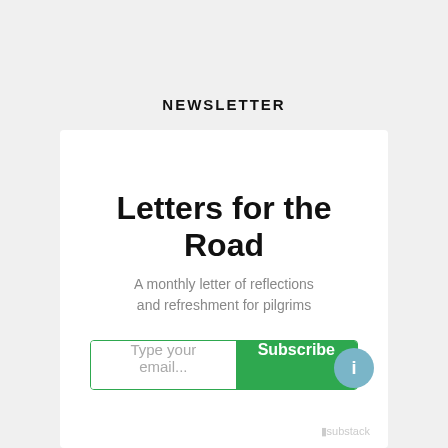NEWSLETTER
Letters for the Road
A monthly letter of reflections and refreshment for pilgrims
Type your email...  Subscribe
substack